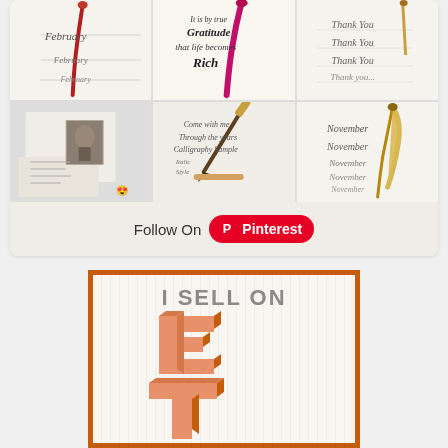[Figure (screenshot): Pinterest widget showing a 3x2 grid of calligraphy/handwriting images with a 'Follow On Pinterest' button at the bottom]
[Figure (infographic): Orange-bordered banner with vertical stripe background showing 'I SELL ON' text and large 3D-style Etsy 'E' logo letters in orange/peach tones]